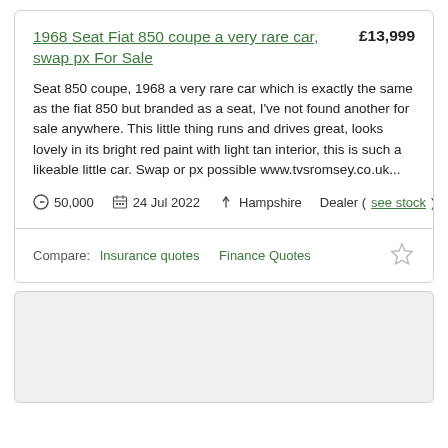1968 Seat Fiat 850 coupe a very rare car, swap px For Sale    £13,999
Seat 850 coupe, 1968 a very rare car which is exactly the same as the fiat 850 but branded as a seat, I've not found another for sale anywhere. This little thing runs and drives great, looks lovely in its bright red paint with light tan interior, this is such a likeable little car. Swap or px possible www.tvsromsey.co.uk...
50,000    24 Jul 2022    Hampshire    Dealer (see stock)
Compare:  Insurance quotes   Finance Quotes